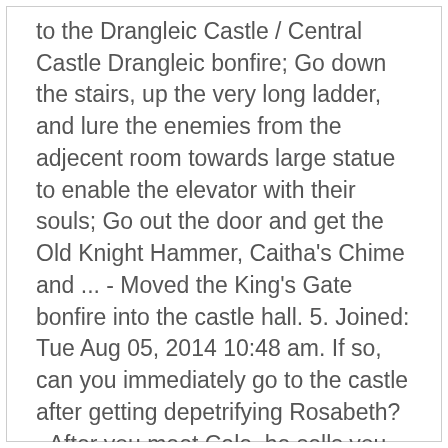to the Drangleic Castle / Central Castle Drangleic bonfire; Go down the stairs, up the very long ladder, and lure the enemies from the adjecent room towards large statue to enable the elevator with their souls; Go out the door and get the Old Knight Hammer, Caitha's Chime and ... - Moved the King's Gate bonfire into the castle hall. 5. Joined: Tue Aug 05, 2014 10:48 am. If so, can you immediately go to the castle after getting depetrifying Rosabeth? - After you meet Cale, he sells you that for 2000 souls... - Support my work, don't kill Cale and join the Stop the NPC Killing Support Group now! It should take between 50 and 100 hours to complete. Beginners Guide. I am ng+ with 5M sm and it's not opening. - Added shortcut ladder to second area, linked via invisible path to the front of the castle. Encontre (e salve!) Maps. Proceed further inside and you will